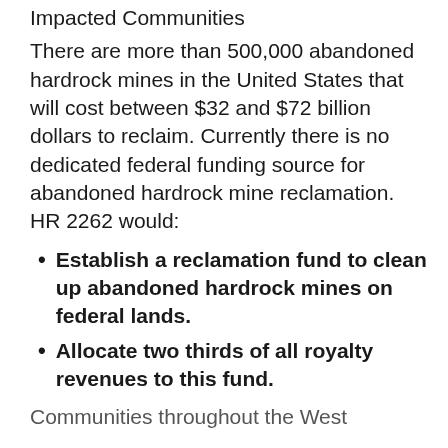Impacted Communities
There are more than 500,000 abandoned hardrock mines in the United States that will cost between $32 and $72 billion dollars to reclaim. Currently there is no dedicated federal funding source for abandoned hardrock mine reclamation. HR 2262 would:
Establish a reclamation fund to clean up abandoned hardrock mines on federal lands.
Allocate two thirds of all royalty revenues to this fund.
Communities throughout the West